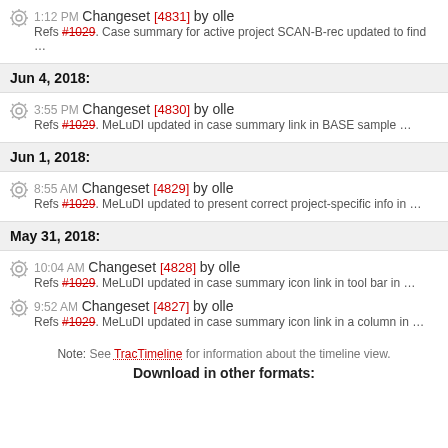1:12 PM Changeset [4831] by olle
Refs #1029. Case summary for active project SCAN-B-rec updated to find ...
Jun 4, 2018:
3:55 PM Changeset [4830] by olle
Refs #1029. MeLuDI updated in case summary link in BASE sample ...
Jun 1, 2018:
8:55 AM Changeset [4829] by olle
Refs #1029. MeLuDI updated to present correct project-specific info in ...
May 31, 2018:
10:04 AM Changeset [4828] by olle
Refs #1029. MeLuDI updated in case summary icon link in tool bar in ...
9:52 AM Changeset [4827] by olle
Refs #1029. MeLuDI updated in case summary icon link in a column in ...
Note: See TracTimeline for information about the timeline view.
Download in other formats: